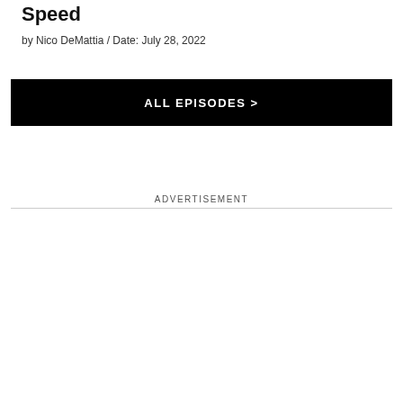Speed
by Nico DeMattia / Date: July 28, 2022
ALL EPISODES >
ADVERTISEMENT